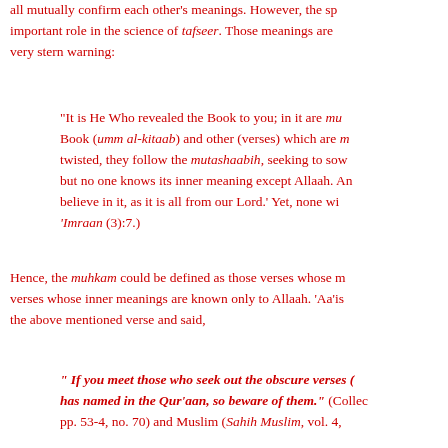all mutually confirm each other's meanings. However, the sp... important role in the science of tafseer. Those meanings are... very stern warning:
"It is He Who revealed the Book to you; in it are mu... Book (umm al-kitaab) and other (verses) which are m... twisted, they follow the mutashaabih, seeking to sow... but no one knows its inner meaning except Allaah. An... believe in it, as it is all from our Lord.' Yet, none wi... 'Imraan (3):7.)
Hence, the muhkam could be defined as those verses whose me... verses whose inner meanings are known only to Allaah. 'Aa'ish... the above mentioned verse and said,
" If you meet those who seek out the obscure verses (... has named in the Qur'aan, so beware of them." (Collec... pp. 53-4, no. 70) and Muslim (Sahih Muslim, vol. 4,...